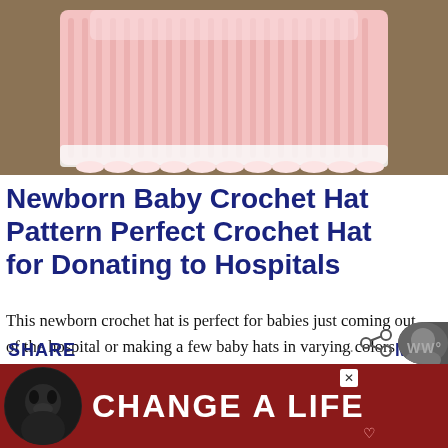[Figure (photo): Close-up photo of a pink and white ribbed crochet baby hat on a wooden surface]
Newborn Baby Crochet Hat Pattern Perfect Crochet Hat for Donating to Hospitals
This newborn crochet hat is perfect for babies just coming out of the hospital or making a few baby hats in varying colors and donating them to your local hospital.  Newborn Babies can lose heat really quickly straight after birth so they require war...
SHARE
MO...
[Figure (illustration): Advertisement banner with dark red background showing a black Labrador dog and text 'CHANGE A LIFE' in white bold letters]